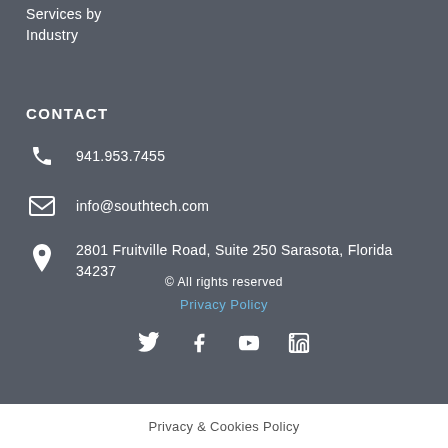Services by Industry
CONTACT
941.953.7455
info@southtech.com
2801 Fruitville Road, Suite 250 Sarasota, Florida 34237
© All rights reserved
Privacy Policy
Privacy & Cookies Policy